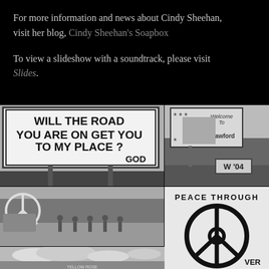For more information and news about Cindy Sheehan, visit her blog, Cindy Sheehan's Soapbox
To view a slideshow with a soundtrack, please visit Slides.
[Figure (photo): Black and white photo of a roadside billboard reading: WILL THE ROAD YOU ARE ON GET YOU TO MY PLACE? GOD]
[Figure (photo): Black and white photo of a Crawford Texas welcome sign with a photo of George W. Bush and a 'W '04' sign in front of a rural property]
[Figure (photo): Black and white photo of people standing near a peace symbol banner in a field]
[Figure (photo): Black and white close-up of a sign reading PEACE THROUGH with a large peace symbol]
[Figure (photo): Black and white photo of a cloudy sky over a road with a Yellow Rose sign visible]